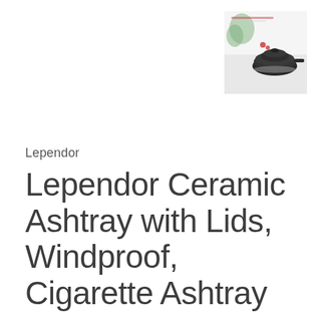[Figure (photo): Small product photo of a dark ceramic ashtray with lid on a white background with a plant in the background, positioned in the top-right corner]
Lependor
Lependor Ceramic Ashtray with Lids, Windproof, Cigarette Ashtray for Indoor or Outdoor Use⊠Ash Holder for Smokers Desktop